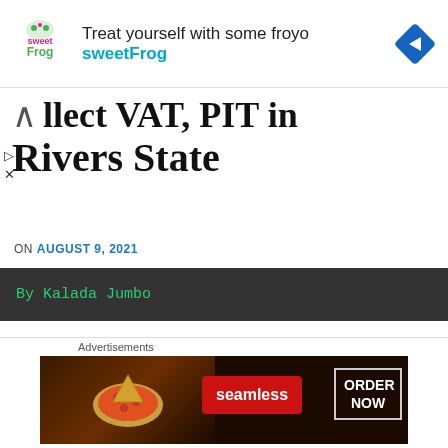[Figure (other): sweetFrog advertisement banner with logo, text 'Treat yourself with some froyo sweetFrog', and navigation arrow diamond icon]
...llect VAT, PIT in Rivers State
ON AUGUST 9, 2021
By Kalada Jumbo
Federal High Court, Port Harcourt has ruled that it is the Rivers State Government (RSG) and not the Federal Inland Revenue Services (FIRS), that should collect Valued Added Tax...
[Figure (other): Seamless food delivery advertisement with pizza image, Seamless logo button and ORDER NOW button]